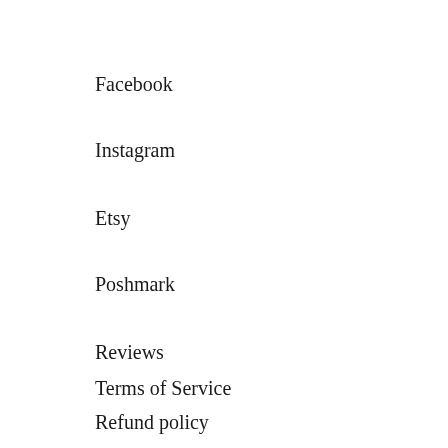Facebook
Instagram
Etsy
Poshmark
Reviews
Terms of Service
Refund policy